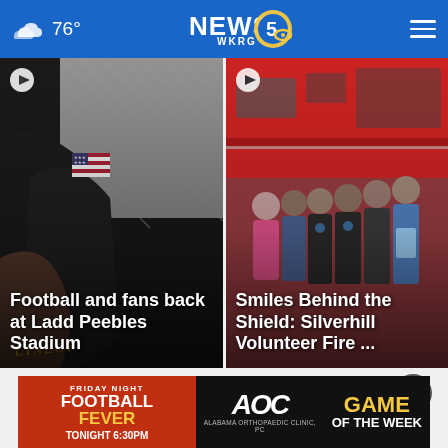76° NEWS 5 WKRG
[Figure (screenshot): Video thumbnail of a person holding a hockey stick with American flag patch on jacket, dark background — Football and fans back at Ladd Peebles Stadium]
[Figure (screenshot): Group photo of smiling people in front of a red fire truck — Smiles Behind the Shield: Silverhill Volunteer Fire ...]
Top Stories  >
[Figure (infographic): Friday Night Football Fever advertisement banner — AOC Alabama Orthopaedic Clinic, PC — GAME OF THE WEEK — TONIGHT 6:30PM]